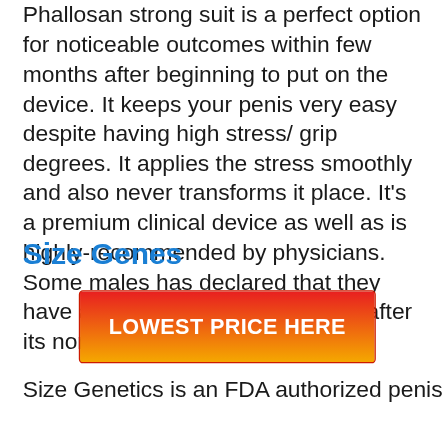Phallosan strong suit is a perfect option for noticeable outcomes within few months after beginning to put on the device. It keeps your penis very easy despite having high stress/grip degrees. It applies the stress smoothly and also never transforms it place. It's a premium clinical device as well as is highly-recommended by physicians. Some males has declared that they have actually obtained 1.5 inches after its normal use in 6 months.
Size Genes
[Figure (other): Red-to-orange gradient button with white bold text reading LOWEST PRICE HERE]
Size Genetics is an FDA authorized penis